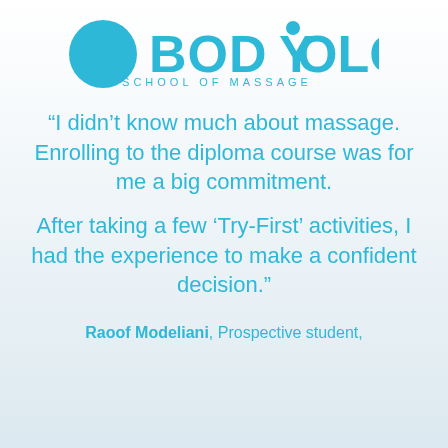[Figure (logo): Bodyology School of Massage logo: a teal circle on the left and the word BODYOLOGY in large teal uppercase letters with a circle accent on the Y, and SCHOOL OF MASSAGE in smaller spaced teal letters below]
“I didn’t know much about massage. Enrolling to the diploma course was for me a big commitment.
After taking a few ‘Try-First’ activities, I had the experience to make a confident decision.”
Raoof Modeliani, Prospective student,